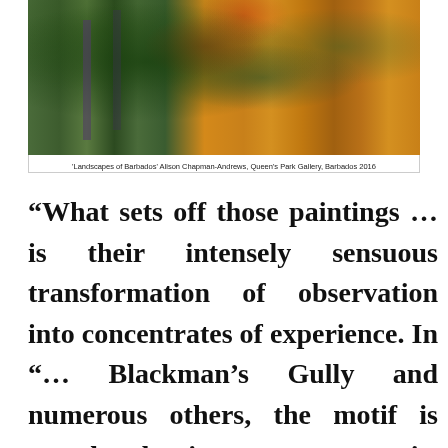[Figure (photo): A colorful landscape painting showing trees and lush vegetation in greens and blacks on the left, with golden wheat or grass fields on the right. Red/orange flowering shrubs visible. Caption at the bottom reads: 'Landscapes of Barbados' Alison Chapman-Andrews, Queen's Park Gallery, Barbados 2016]
'Landscapes of Barbados' Alison Chapman-Andrews, Queen's Park Gallery, Barbados 2016
“What sets off those paintings … is their intensely sensuous transformation of observation into concentrates of experience. In “… Blackman’s Gully and numerous others, the motif is translated into an ecstatic, resounding ‘now’,